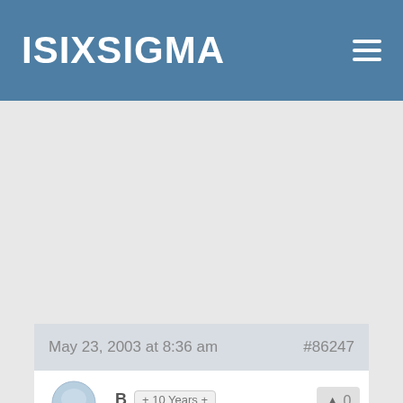ISIXSIGMA
May 23, 2003 at 8:36 am    #86247
B   + 10 Years +